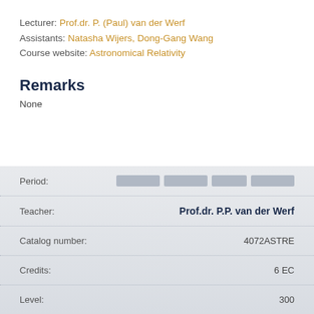Lecturer: Prof.dr. P. (Paul) van der Werf
Assistants: Natasha Wijers, Dong-Gang Wang
Course website: Astronomical Relativity
Remarks
None
| Field | Value |
| --- | --- |
| Period: |  |
| Teacher: | Prof.dr. P.P. van der Werf |
| Catalog number: | 4072ASTRE |
| Credits: | 6 EC |
| Level: | 300 |